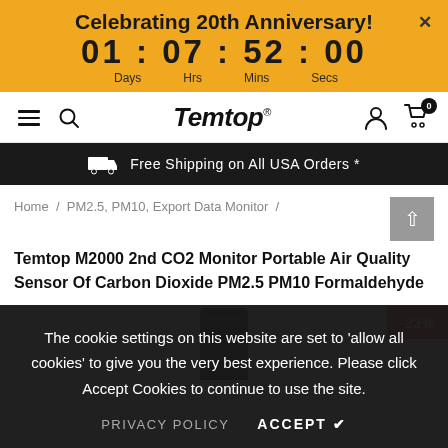Celebrating 20th Anniversary! 01 : 07 : 52 : 00 Days Hrs Mins Secs
[Figure (logo): Temtop brand logo in italic bold font with registered trademark symbol]
Free Shipping on All USA Orders *
Home / PM2.5, PM10, Export Data Monitor / Temtop M2000 2nd CO2 Monitor Portable Air Quality Sensor Of Carbon Dioxide PM2.5 PM10 Formaldehyde
Temtop M2000 2nd CO2 Monitor Portable Air Quality Sensor Of Carbon Dioxide PM2.5 PM10 Formaldehyde
-23%
The cookie settings on this website are set to 'allow all cookies' to give you the very best experience. Please click Accept Cookies to continue to use the site.
PRIVACY POLICY    ACCEPT ✔